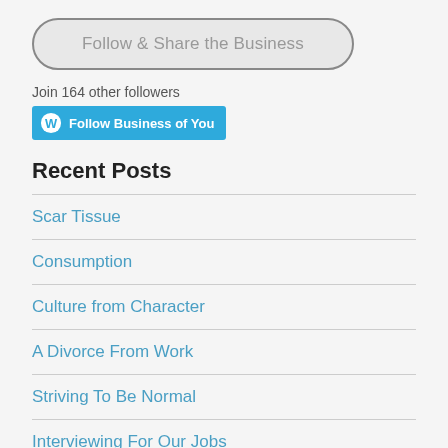Follow & Share the Business
Join 164 other followers
Follow Business of You
Recent Posts
Scar Tissue
Consumption
Culture from Character
A Divorce From Work
Striving To Be Normal
Interviewing For Our Jobs
Search the Biz